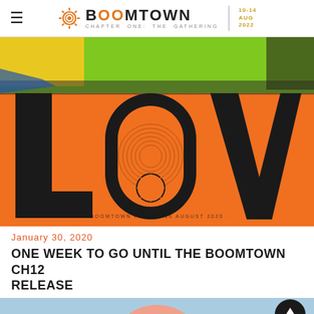BOOMTOWN | CHAPTER ONE: THE GATHERING | 10-14 AUG 2022
[Figure (illustration): Boomtown Fair promotional poster with large text reading 'LOVE' on an orange background with green torn paper at top and small text 'BOOMTOWN FAIR 12-16 AUGUST 2020' at bottom.]
January 30, 2020
ONE WEEK TO GO UNTIL THE BOOMTOWN CH12 RELEASE
[Figure (photo): Partial view of a second image with light blue/sky background, cropped at bottom of page.]